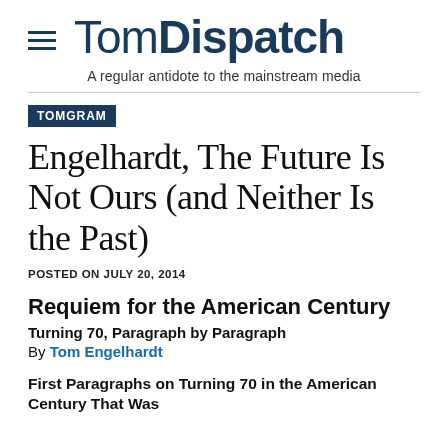TomDispatch — A regular antidote to the mainstream media
TOMGRAM
Engelhardt, The Future Is Not Ours (and Neither Is the Past)
POSTED ON JULY 20, 2014
Requiem for the American Century
Turning 70, Paragraph by Paragraph
By Tom Engelhardt
First Paragraphs on Turning 70 in the American Century That Was